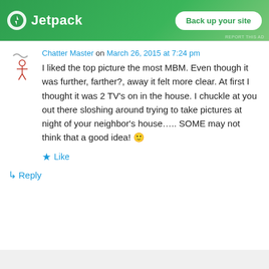[Figure (screenshot): Jetpack advertisement banner with green background, lightning bolt logo, and 'Back up your site' button]
Chatter Master on March 26, 2015 at 7:24 pm
I liked the top picture the most MBM. Even though it was further, farther?, away it felt more clear. At first I thought it was 2 TV’s on in the house. I chuckle at you out there sloshing around trying to take pictures at night of your neighbor’s house….. SOME may not think that a good idea! 🙂
★ Like
↳ Reply